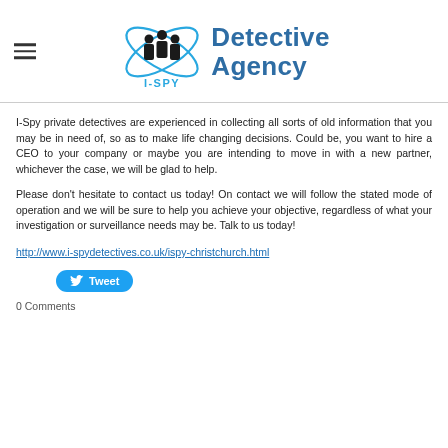I-SPY Detective Agency
I-Spy private detectives are experienced in collecting all sorts of old information that you may be in need of, so as to make life changing decisions. Could be, you want to hire a CEO to your company or maybe you are intending to move in with a new partner, whichever the case, we will be glad to help.
Please don't hesitate to contact us today! On contact we will follow the stated mode of operation and we will be sure to help you achieve your objective, regardless of what your investigation or surveillance needs may be. Talk to us today!
http://www.i-spydetectives.co.uk/ispy-christchurch.html
[Figure (other): Tweet button with Twitter bird icon]
0 Comments